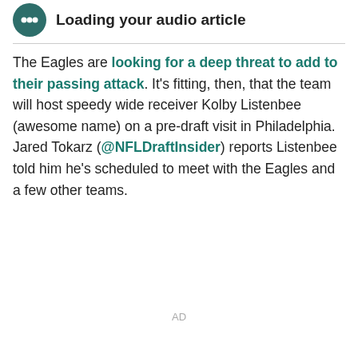Loading your audio article
The Eagles are looking for a deep threat to add to their passing attack. It's fitting, then, that the team will host speedy wide receiver Kolby Listenbee (awesome name) on a pre-draft visit in Philadelphia. Jared Tokarz (@NFLDraftInsider) reports Listenbee told him he's scheduled to meet with the Eagles and a few other teams.
AD